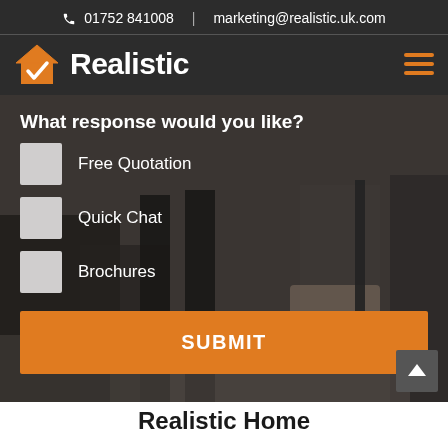📞 01752 841008  |  marketing@realistic.uk.com
[Figure (logo): Realistic logo with orange house checkmark icon and white bold text 'Realistic' on dark background]
What response would you like?
Free Quotation
Quick Chat
Brochures
SUBMIT
Realistic Home